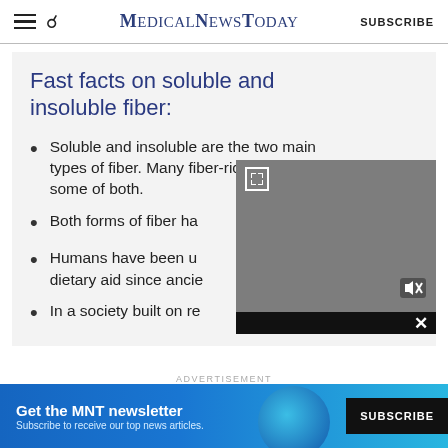MedicalNewsToday | SUBSCRIBE
Fast facts on soluble and insoluble fiber:
Soluble and insoluble are the two main types of fiber. Many fiber-rich foods contain some of both.
Both forms of fiber ha[ve...]
Humans have been u[sing fiber as a] dietary aid since ancie[nt times.]
In a society built on re[...]
[Figure (screenshot): Embedded video player overlay (gray) with expand icon and mute button, partially covering the list text]
ADVERTISEMENT
[Figure (infographic): MNT newsletter subscription banner: 'Get the MNT newsletter — Subscribe to receive our top news articles.' with SUBSCRIBE button]